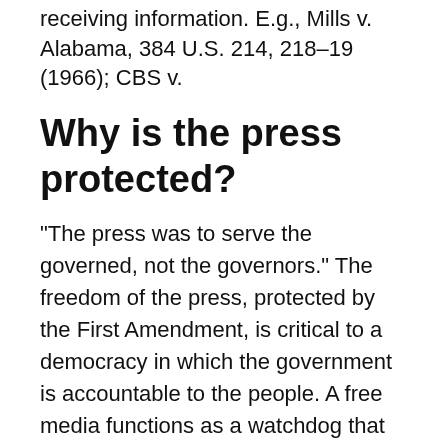receiving information. E.g., Mills v. Alabama, 384 U.S. 214, 218–19 (1966); CBS v.
Why is the press protected?
“The press was to serve the governed, not the governors.” The freedom of the press, protected by the First Amendment, is critical to a democracy in which the government is accountable to the people. A free media functions as a watchdog that can investigate and report on government wrongdoing.
IMPORTANT: Quick Answer: What does guard do in MHW?
Why freedom of media is